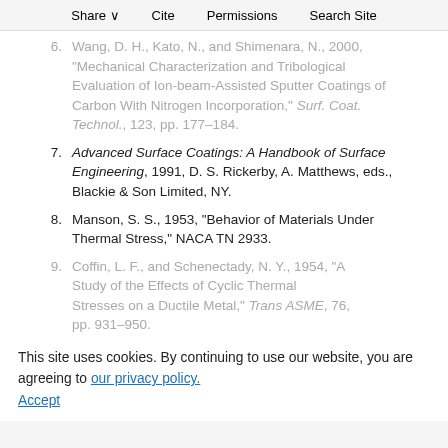Share  Cite  Permissions  Search Site
6. Wang, D. H., Kato, N., and Shimenara, N., 2000, "Mechanical Characterization and Tribological Evaluation of Ion-beam-Assisted Sputter Coatings of Carbon With Nitrogen Incorporation," Surf. Coat. Technol., 123, pp. 177–184.
7. Advanced Surface Coatings: A Handbook of Surface Engineering, 1991, D. S. Rickerby, A. Matthews, eds., Blackie & Son Limited, NY.
8. Manson, S. S., 1953, "Behavior of Materials Under Thermal Stress," NACA TN 2933.
9. Coffin, L. F., and Schenectady, N. Y., 1954, "A Study of the Effects of Cyclic Thermal Stresses on a Ductile Metal," Trans ASME, 76, pp. 931–950.
This site uses cookies. By continuing to use our website, you are agreeing to our privacy policy. Accept